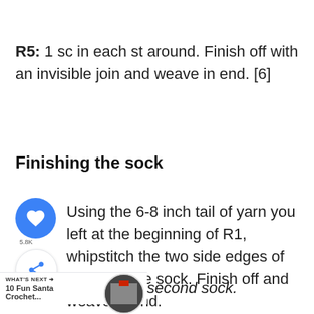R5: 1 sc in each st around. Finish off with an invisible join and weave in end. [6]
Finishing the sock
Using the 6-8 inch tail of yarn you left at the beginning of R1, whipstitch the two side edges of Santa's tube sock. Finish off and weave in end.
...second sock.
[Figure (screenshot): What's Next bar showing '10 Fun Santa Crochet...' with circular thumbnail image]
[Figure (screenshot): Advertisement banner: BitLife - Start a New Life, with FAIL text and cartoon character on red background]